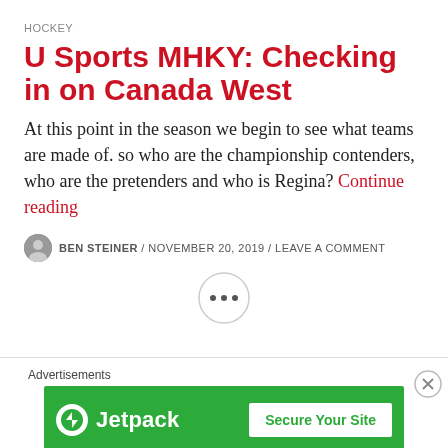HOCKEY
U Sports MHKY: Checking in on Canada West
At this point in the season we begin to see what teams are made of. so who are the championship contenders, who are the pretenders and who is Regina? Continue reading
BEN STEINER / NOVEMBER 20, 2019 / LEAVE A COMMENT
[Figure (other): Ellipsis circle button (three dots)]
Advertisements
[Figure (other): Jetpack advertisement banner with logo and 'Secure Your Site' button on green background]